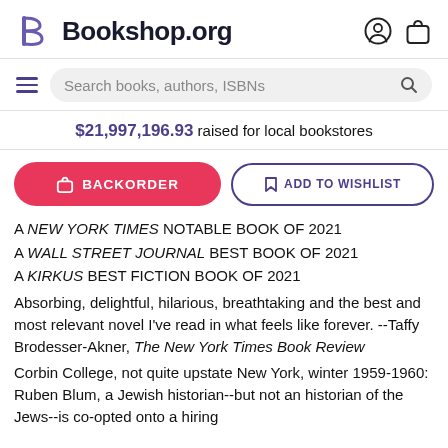Bookshop.org
$21,997,196.93 raised for local bookstores
BACKORDER | ADD TO WISHLIST
A NEW YORK TIMES NOTABLE BOOK OF 2021
A WALL STREET JOURNAL BEST BOOK OF 2021
A KIRKUS BEST FICTION BOOK OF 2021
Absorbing, delightful, hilarious, breathtaking and the best and most relevant novel I've read in what feels like forever. --Taffy Brodesser-Akner, The New York Times Book Review
Corbin College, not quite upstate New York, winter 1959-1960: Ruben Blum, a Jewish historian--but not an historian of the Jews--is co-opted onto a hiring